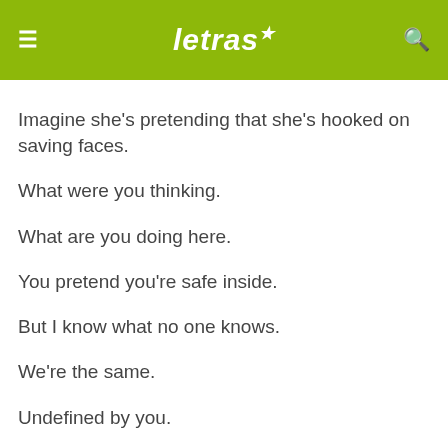letras
Imagine she's pretending that she's hooked on saving faces.
What were you thinking.
What are you doing here.
You pretend you're safe inside.
But I know what no one knows.
We're the same.
Undefined by you.
As you're living through my eyes.
You pretend you're safe inside.
But I know what no one knows.
We're the same.
Undefined by you.
As you're living through my eyes.